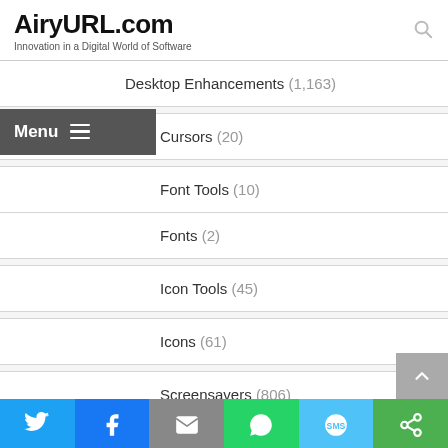AiryURL.com — Innovation in a Digital World of Software
Desktop Enhancements (1,163)
Cursors (20)
Font Tools (10)
Fonts (2)
Icon Tools (45)
Icons (61)
Screensavers (806)
Shell & Desktop Management (45)